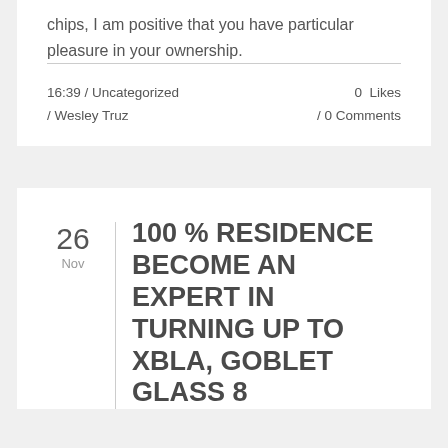chips, I am positive that you have particular pleasure in your ownership.
16:39 / Uncategorized / Wesley Truz  0  Likes / 0 Comments
100 % RESIDENCE BECOME AN EXPERT IN TURNING UP TO XBLA, GOBLET GLASS 8